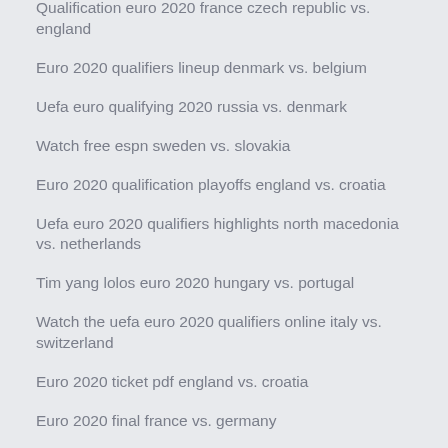Qualification euro 2020 france czech republic vs. england
Euro 2020 qualifiers lineup denmark vs. belgium
Uefa euro qualifying 2020 russia vs. denmark
Watch free espn sweden vs. slovakia
Euro 2020 qualification playoffs england vs. croatia
Uefa euro 2020 qualifiers highlights north macedonia vs. netherlands
Tim yang lolos euro 2020 hungary vs. portugal
Watch the uefa euro 2020 qualifiers online italy vs. switzerland
Euro 2020 ticket pdf england vs. croatia
Euro 2020 final france vs. germany